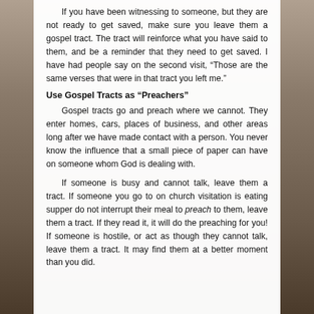If you have been witnessing to someone, but they are not ready to get saved, make sure you leave them a gospel tract. The tract will reinforce what you have said to them, and be a reminder that they need to get saved. I have had people say on the second visit, “Those are the same verses that were in that tract you left me.”
Use Gospel Tracts as “Preachers”
Gospel tracts go and preach where we cannot. They enter homes, cars, places of business, and other areas long after we have made contact with a person. You never know the influence that a small piece of paper can have on someone whom God is dealing with.
If someone is busy and cannot talk, leave them a tract. If someone you go to on church visitation is eating supper do not interrupt their meal to preach to them, leave them a tract. If they read it, it will do the preaching for you! If someone is hostile, or act as though they cannot talk, leave them a tract. It may find them at a better moment than you did.